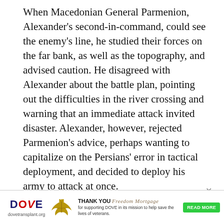When Macedonian General Parmenion, Alexander's second-in-command, could see the enemy's line, he studied their forces on the far bank, as well as the topography, and advised caution. He disagreed with Alexander about the battle plan, pointing out the difficulties in the river crossing and warning that an immediate attack invited disaster. Alexander, however, rejected Parmenion's advice, perhaps wanting to capitalize on the Persians' error in tactical deployment, and decided to deploy his army to attack at once.

In the center of his line, Alexander placed his six Foot Companion battalions of heavy infantry (historically referred to as phalanxes), arranged in the following order from left to right: Meleager's
[Figure (other): Advertisement banner for DOVE (dovetransplant.org) thanking Freedom Mortgage for supporting DOVE in its mission to help save the lives of veterans. Contains DOVE logo, eagle emblem, and a green READ MORE button.]